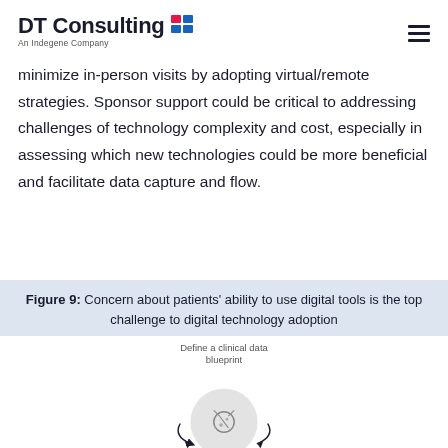DT Consulting An Indegene Company
minimize in-person visits by adopting virtual/remote strategies. Sponsor support could be critical to addressing challenges of technology complexity and cost, especially in assessing which new technologies could be more beneficial and facilitate data capture and flow.
Figure 9: Concern about patients' ability to use digital tools is the top challenge to digital technology adoption
[Figure (other): Circular diagram with 'Define a clinical data blueprint' label at top and a circular icon with arrows, partially visible at bottom of page.]